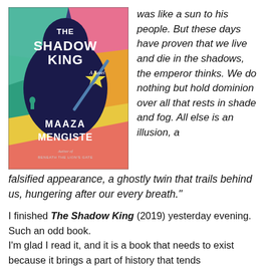[Figure (illustration): Book cover of 'The Shadow King' by Maaza Mengiste, A Novel. Features a dark silhouette of a person's head against a colorful background with abstract shapes in green, yellow, orange, pink, and blue. The title text reads 'The Shadow King' in large white letters, 'A Novel' in smaller text, author name 'Maaza Mengiste' and 'Author of Beneath the Lion's Gaze' at the bottom.]
was like a sun to his people. But these days have proven that we live and die in the shadows, the emperor thinks. We do nothing but hold dominion over all that rests in shade and fog. All else is an illusion, a falsified appearance, a ghostly twin that trails behind us, hungering after our every breath.”
I finished The Shadow King (2019) yesterday evening. Such an odd book.
I’m glad I read it, and it is a book that needs to exist because it brings a part of history that tends